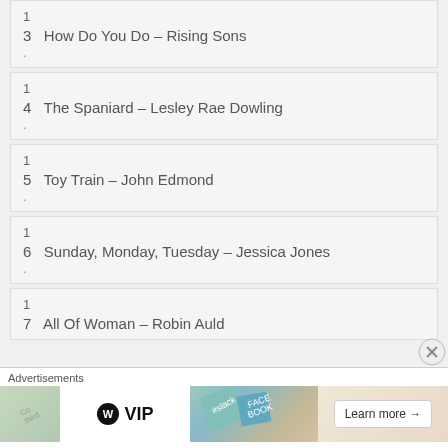1
3   How Do You Do – Rising Sons
.
1
4   The Spaniard – Lesley Rae Dowling
.
1
5   Toy Train – John Edmond
.
1
6   Sunday, Monday, Tuesday – Jessica Jones
.
1
7   All Of Woman – Robin Auld
Advertisements